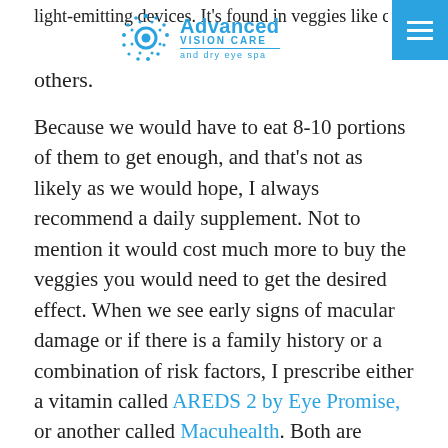light-emitting devices. It's found in veggies like collard
[Figure (logo): Advanced Vision Care and dry eye spa logo with circular eye icon]
others.
Because we would have to eat 8-10 portions of them to get enough, and that's not as likely as we would hope, I always recommend a daily supplement. Not to mention it would cost much more to buy the veggies you would need to get the desired effect. When we see early signs of macular damage or if there is a family history or a combination of risk factors, I prescribe either a vitamin called AREDS 2 by Eye Promise, or another called Macuhealth. Both are outstanding and provide our eyes with what they need to reduce some of the risk of developing, or progression of, macular degeneration.